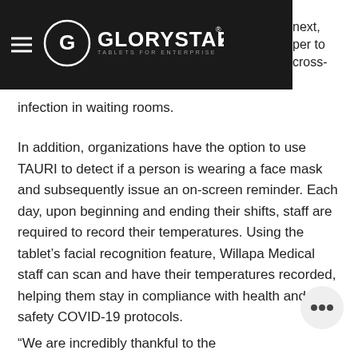GLORYSTAR 4G — navigation header
cross-infection in waiting rooms.
In addition, organizations have the option to use TAURI to detect if a person is wearing a face mask and subsequently issue an on-screen reminder. Each day, upon beginning and ending their shifts, staff are required to record their temperatures. Using the tablet's facial recognition feature, Willapa Medical staff can scan and have their temperatures recorded, helping them stay in compliance with health and safety COVID-19 protocols.
“We are incredibly thankful to the